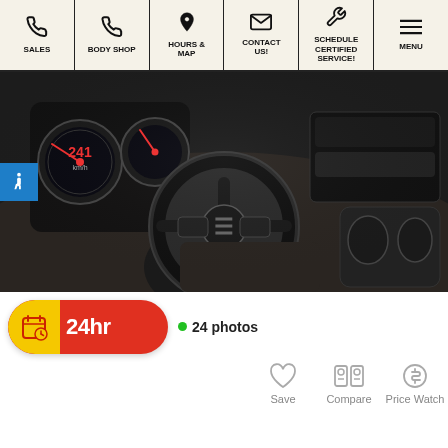SALES | BODY SHOP | HOURS & MAP | CONTACT US! | SCHEDULE CERTIFIED SERVICE! | MENU
[Figure (photo): Interior photo of a Ram pickup truck showing the steering wheel with Ram logo, dashboard gauges, center console, and touchscreen controls.]
[Figure (infographic): 24-hour schedule button (red pill with yellow left section containing calendar-clock icon), green dot with '24 photos' label, Save heart icon, Compare icon, Price Watch dollar sign icon.]